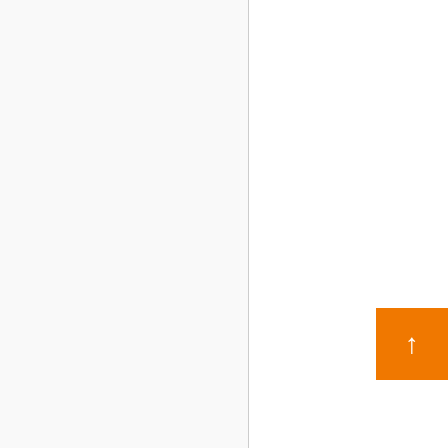logical. However, what abgout this? suppose you were to create a awesome post title? I am not saying your information isn't good., however suppose you added a post title that makes people want more? I mean COMING SOON!
LEGO Builder's Journey On Nintendo Switch
& PC – Much More Bricks – is kinda vanilla.

You might look at Yahoo's front page and notge how they write article headlines to graqb
people to open the links. You might try adding a CAM4 – Chats Free Sex Vide France & Filles Nues HD Porn en
or a picturee or
two to grab people excited about